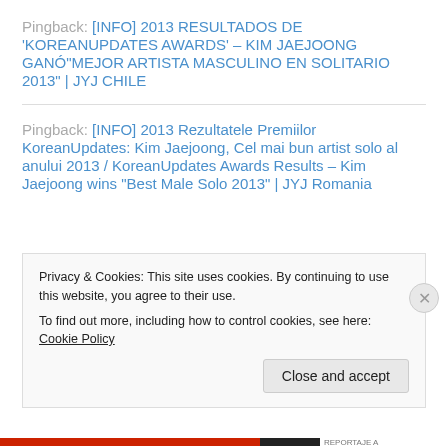Pingback: [INFO] 2013 RESULTADOS DE 'KOREANUPDATES AWARDS' – KIM JAEJOONG GANÓ"MEJOR ARTISTA MASCULINO EN SOLITARIO 2013" | JYJ CHILE
Pingback: [INFO] 2013 Rezultatele Premiilor KoreanUpdates: Kim Jaejoong, Cel mai bun artist solo al anului 2013 / KoreanUpdates Awards Results – Kim Jaejoong wins "Best Male Solo 2013" | JYJ Romania
Privacy & Cookies: This site uses cookies. By continuing to use this website, you agree to their use. To find out more, including how to control cookies, see here: Cookie Policy